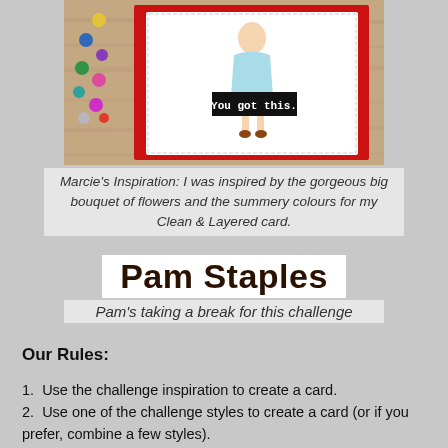[Figure (photo): Craft card photo showing a handmade greeting card with a girl illustration saying 'You got this.' on red backing, on a wooden table with colorful sequins/gems scattered nearby.]
Marcie's Inspiration: I was inspired by the gorgeous big bouquet of flowers and the summery colours for my Clean & Layered card.
Pam Staples
Pam's taking a break for this challenge
Our Rules:
Use the challenge inspiration to create a card.
Use one of the challenge styles to create a card (or if you prefer, combine a few styles).